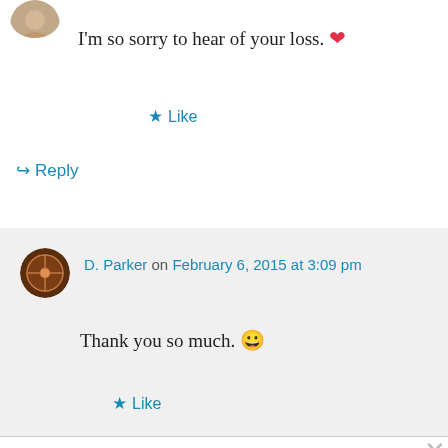[Figure (photo): Small circular avatar photo of a person, top left corner]
I'm so sorry to hear of your loss. ❤
★ Like
↪ Reply
[Figure (photo): Circular avatar icon with compass/globe design for D. Parker]
D. Parker on February 6, 2015 at 3:09 pm
Thank you so much. 🙂
★ Like
Privacy & Cookies: This site uses cookies. By continuing to use this website, you agree to their use.
To find out more, including how to control cookies, see here: Cookie Policy
Close and accept